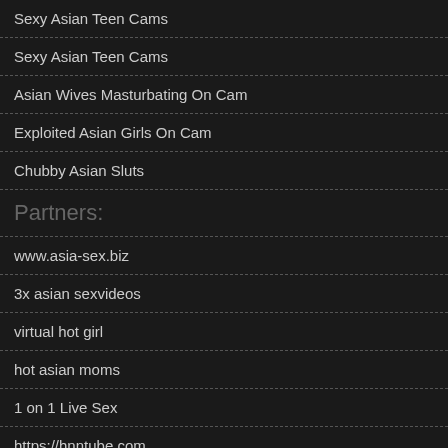Sexy Asian Teen Cams
Sexy Asian Teen Cams
Asian Wives Masturbating On Cam
Exploited Asian Girls On Cam
Chubby Asian Sluts
Partners:
www.asia-sex.biz
3x asian sexvideos
virtual hot girl
hot asian moms
1 on 1 Live Sex
https://hnntube.com
asianpornmilfs.com